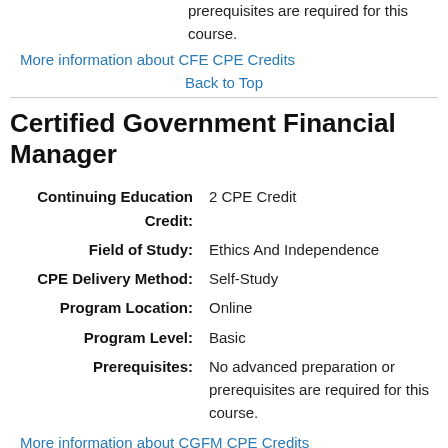prerequisites are required for this course.
More information about CFE CPE Credits
Back to Top
Certified Government Financial Manager
Continuing Education Credit: 2 CPE Credit
Field of Study: Ethics And Independence
CPE Delivery Method: Self-Study
Program Location: Online
Program Level: Basic
Prerequisites: No advanced preparation or prerequisites are required for this course.
More information about CGFM CPE Credits